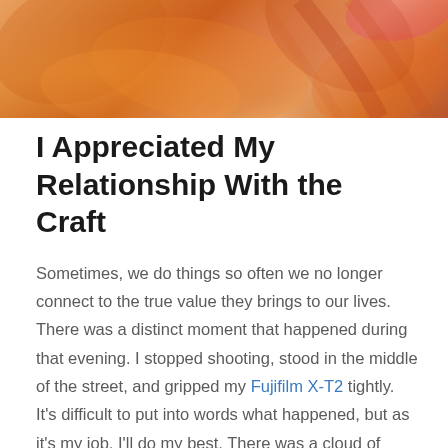[Figure (photo): Close-up photo of orange/amber tones, appearing to show a person with reddish hair and warm orange colors, cropped at top of page]
I Appreciated My Relationship With the Craft
Sometimes, we do things so often we no longer connect to the true value they brings to our lives. There was a distinct moment that happened during that evening. I stopped shooting, stood in the middle of the street, and gripped my Fujifilm X-T2 tightly. It's difficult to put into words what happened, but as it's my job, I'll do my best. There was a cloud of euphoria that surrounded me. I also felt an overwhelming sense of gratitude for street photography. I was grateful for having a passion, grateful for every single person on that street that had connected to my lens.